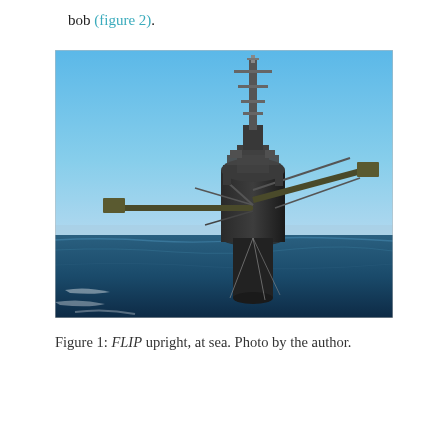bob (figure 2).
[Figure (photo): The FLIP (Floating Instrument Platform) vessel upright at sea. The ship is oriented vertically with its hull submerged and the bow sticking up out of the ocean. Equipment booms extend horizontally from the vessel. Clear blue sky in the background, dark blue ocean water in the foreground.]
Figure 1: FLIP upright, at sea. Photo by the author.